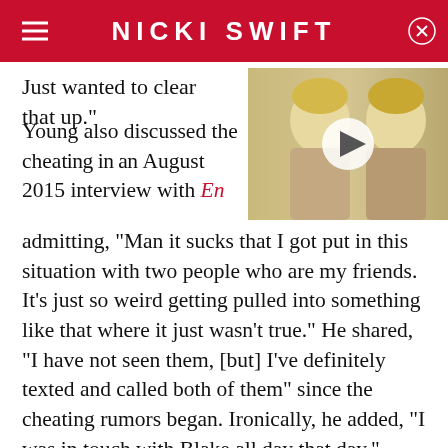NICKI SWIFT
Just wanted to clear that up."
[Figure (photo): Video thumbnail showing two blonde women smiling, with a play button overlay]
Young also discussed the chea... August 2015 interview with En... admitting, "Man it sucks that I got put in this situation with two people who are my friends. It's just so weird getting pulled into something like that where it just wasn't true." He shared, "I have not seen them, [but] I've definitely texted and called both of them" since the cheating rumors began. Ironically, he added, "I was in touch with Blake all day that day," referencing the day the story broke.